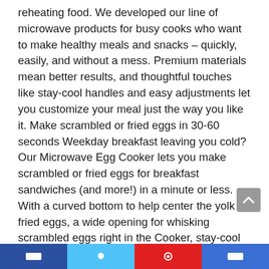reheating food. We developed our line of microwave products for busy cooks who want to make healthy meals and snacks – quickly, easily, and without a mess. Premium materials mean better results, and thoughtful touches like stay-cool handles and easy adjustments let you customize your meal just the way you like it. Make scrambled or fried eggs in 30-60 seconds Weekday breakfast leaving you cold? Our Microwave Egg Cooker lets you make scrambled or fried eggs for breakfast sandwiches (and more!) in a minute or less. With a curved bottom to help center the yolk for fried eggs, a wide opening for whisking scrambled eggs right in the Cooker, stay-cool handles for grabbing right from the microwave, and a removable base to easily transfer your eggs to bread or plate – you'll be making hot, eggs-ellent breakfast in a flash.